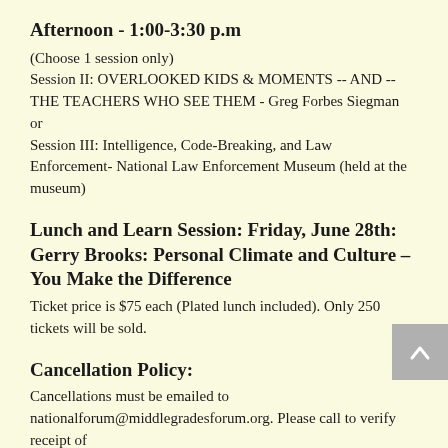Afternoon - 1:00-3:30 p.m
(Choose 1 session only)
Session II: OVERLOOKED KIDS & MOMENTS -- AND -- THE TEACHERS WHO SEE THEM - Greg Forbes Siegman
or
Session III: Intelligence, Code-Breaking, and Law Enforcement- National Law Enforcement Museum (held at the museum)
Lunch and Learn Session: Friday, June 28th: Gerry Brooks: Personal Climate and Culture – You Make the Difference
Ticket price is $75 each (Plated lunch included). Only 250 tickets will be sold.
Cancellation Policy:
Cancellations must be emailed to nationalforum@middlegradesforum.org. Please call to verify receipt of